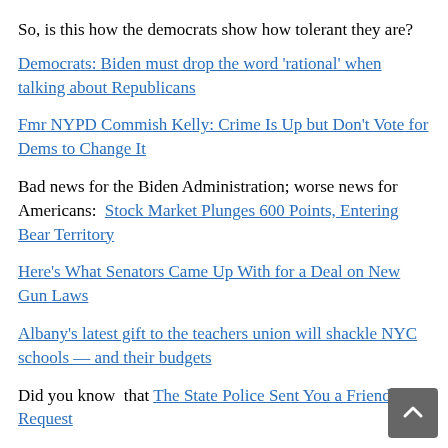So, is this how the democrats show how tolerant they are?
Democrats: Biden must drop the word 'rational' when talking about Republicans
Fmr NYPD Commish Kelly: Crime Is Up but Don't Vote for Dems to Change It
Bad news for the Biden Administration; worse news for Americans:  Stock Market Plunges 600 Points, Entering Bear Territory
Here's What Senators Came Up With for a Deal on New Gun Laws
Albany's latest gift to the teachers union will shackle NYC schools — and their budgets
Did you know  that The State Police Sent You a Friend Request
Police the Streets, Not the Tweets/The new chief inspector